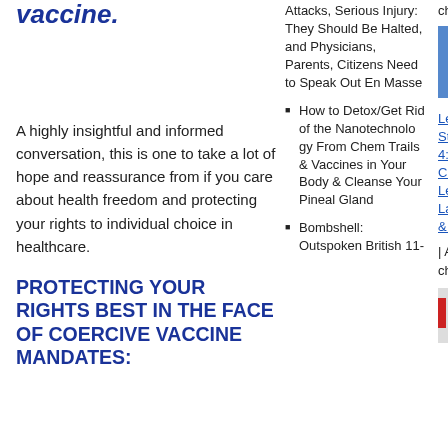vaccine.
A highly insightful and informed conversation, this is one to take a lot of hope and reassurance from if you care about health freedom and protecting your rights to individual choice in healthcare.
PROTECTING YOUR RIGHTS BEST IN THE FACE OF COERCIVE VACCINE MANDATES:
Attacks, Serious Injury: They Should Be Halted, and Physicians, Parents, Citizens Need to Speak Out En Masse
How to Detox/Get Rid of the Nanotechnology From Chem Trails & Vaccines in Your Body & Cleanse Your Pineal Gland
Bombshell: Outspoken British 11-
channels
[Figure (photo): Photo/thumbnail image]
Let Freedom Ring! Mass State Assembly Podcast 4: Birthright American or Captured US Citizen? Learn Who You Are — Land Vs Sea Jurisdictions & Pirate Ships | At all Ramola D Reports channels
[Figure (photo): Small thumbnail image with red, blue and gray tones]